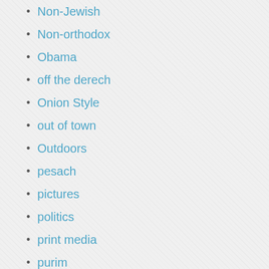Non-Jewish
Non-orthodox
Obama
off the derech
Onion Style
out of town
Outdoors
pesach
pictures
politics
print media
purim
questions
Rabbis
Random stuff
Random thoughts
Rants
Rebels
reform conservative egal